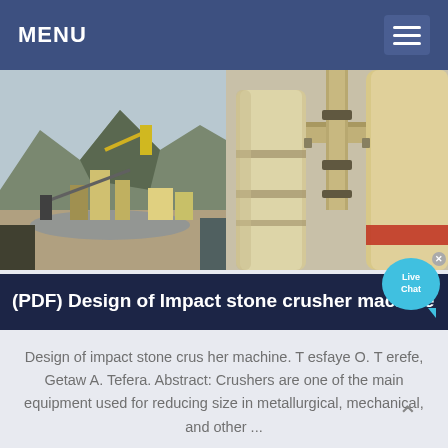MENU
[Figure (photo): Two side-by-side industrial images: left shows a quarry/mining site with mountains and processing equipment; right shows close-up of industrial crusher machinery (beige/cream colored silos/cylinders)]
(PDF) Design of Impact stone crusher machine
Design of impact stone crus her machine. T esfaye O. T erefe, Getaw A. Tefera. Abstract: Crushers are one of the main equipment used for reducing size in metallurgical, mechanical, and other ...